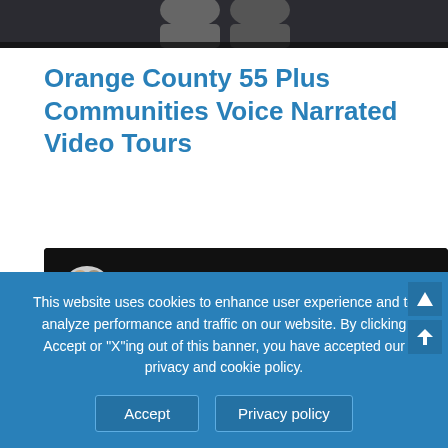[Figure (photo): Top portion of a photo showing two people (man and woman) against a dark background, cropped at the bottom edge]
Orange County 55 Plus Communities Voice Narrated Video Tours
[Figure (screenshot): YouTube video player interface showing a playlist with avatar of two people and title 'Monarch Summit II - Laguna...' with playlist and more-options icons]
This website uses cookies to enhance user experience and to analyze performance and traffic on our website. By clicking Accept or "X"ing out of this banner, you have accepted our privacy and cookie policy.
Accept   Privacy policy